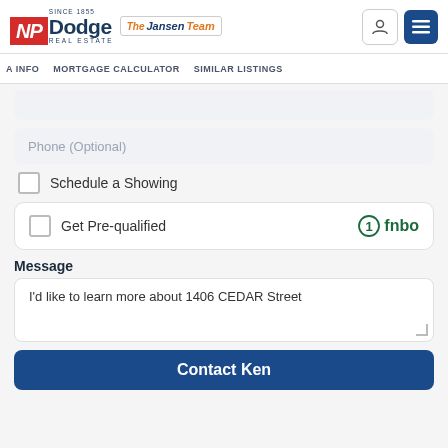NP Dodge Real Estate – Jansen Team
A INFO   MORTGAGE CALCULATOR   SIMILAR LISTINGS
Phone (Optional)
Schedule a Showing
Get Pre-qualified   fnbo
Message
I'd like to learn more about 1406 CEDAR Street
Contact Ken